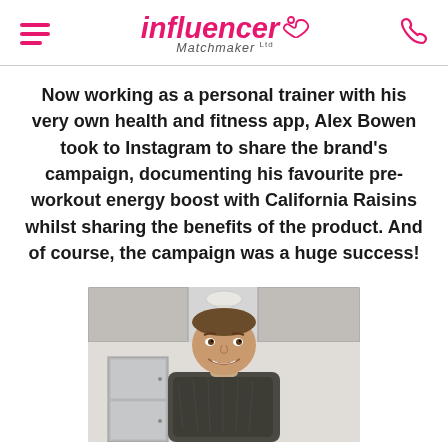influencer Matchmaker Ltd
Now working as a personal trainer with his very own health and fitness app, Alex Bowen took to Instagram to share the brand's campaign, documenting his favourite pre-workout energy boost with California Raisins whilst sharing the benefits of the product. And of course, the campaign was a huge success!
[Figure (photo): A smiling muscular man with short brown hair standing in a kitchen, wearing a dark patterned shirt, with kitchen appliances visible in the background.]